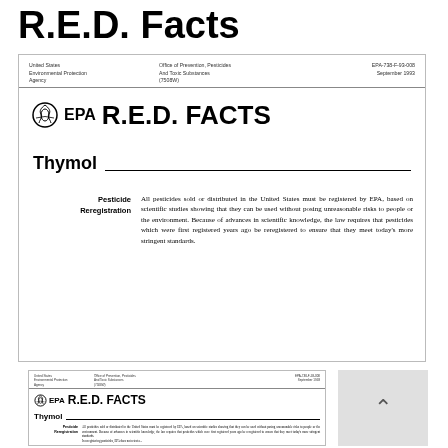R.E.D. Facts
[Figure (screenshot): EPA R.E.D. FACTS document cover page for Thymol, showing EPA logo, document header with office information (United States Environmental Protection Agency, Office of Prevention, Pesticides And Toxic Substances, EPA-738-F-93-008, September 1993, 7508W), large title R.E.D. FACTS, subject line Thymol with underline, and Pesticide Reregistration section with introductory text about pesticide reregistration requirements.]
[Figure (screenshot): Smaller thumbnail of the same EPA R.E.D. FACTS Thymol document cover page, showing the same layout at reduced size.]